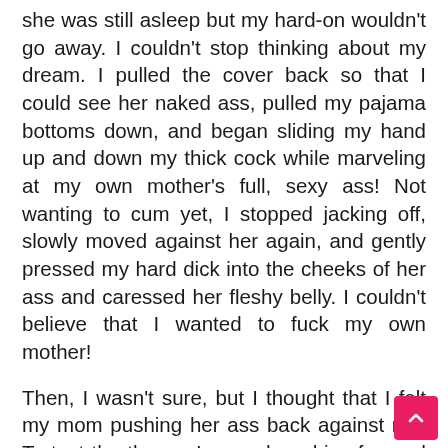she was still asleep but my hard-on wouldn't go away. I couldn't stop thinking about my dream. I pulled the cover back so that I could see her naked ass, pulled my pajama bottoms down, and began sliding my hand up and down my thick cock while marveling at my own mother's full, sexy ass! Not wanting to cum yet, I stopped jacking off, slowly moved against her again, and gently pressed my hard dick into the cheeks of her ass and caressed her fleshy belly. I couldn't believe that I wanted to fuck my own mother!
Then, I wasn't sure, but I thought that I felt my mom pushing her ass back against me. To test the theory, I moved my hips forward to enjoy my hard, seven-inch cock pressing against the crack of her ass. When I did that,